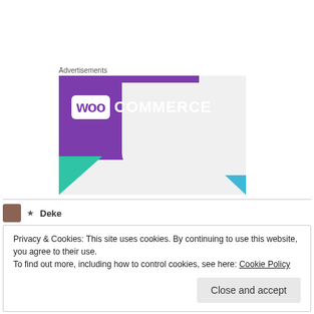Advertisements
[Figure (illustration): WooCommerce advertisement banner with purple background, WOO logo box, COMMERCE text in white, teal triangle bottom-left, blue triangle bottom-right, light gray background]
★ Deke
Privacy & Cookies: This site uses cookies. By continuing to use this website, you agree to their use.
To find out more, including how to control cookies, see here: Cookie Policy
Close and accept
Thanks